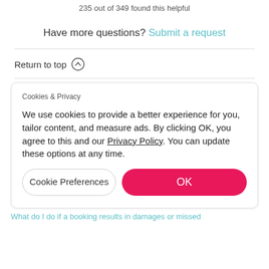235 out of 349 found this helpful
Have more questions? Submit a request
Return to top ↑
Cookies & Privacy
We use cookies to provide a better experience for you, tailor content, and measure ads. By clicking OK, you agree to this and our Privacy Policy. You can update these options at any time.
Cookie Preferences
OK
What do I do if a booking results in damages or missed